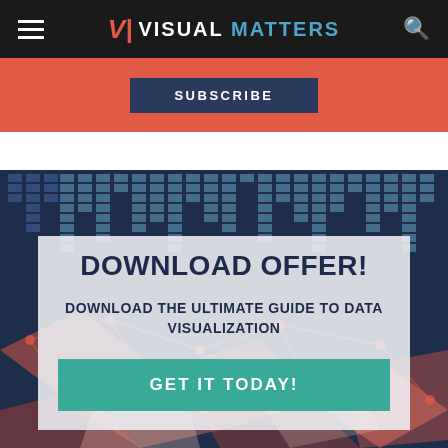VISUAL MATTERS
SUBSCRIBE
[Figure (infographic): Data visualization themed background with dark navy grid/bar chart pattern at top, salmon/coral geometric polygon shapes at bottom, and a network graph overlay on dark blue background.]
DOWNLOAD OFFER!
DOWNLOAD THE ULTIMATE GUIDE TO DATA VISUALIZATION
GET IT TODAY!